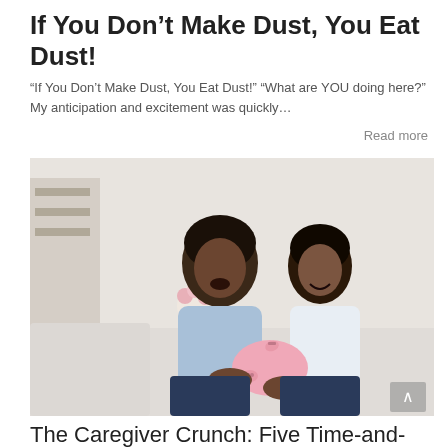If You Don’t Make Dust, You Eat Dust!
“If You Don’t Make Dust, You Eat Dust!” “What are YOU doing here?” My anticipation and excitement was quickly…
Read more
[Figure (photo): A mother and child sitting on a couch, smiling together as the child puts a coin into a pink piggy bank held in the mother's hands.]
The Caregiver Crunch: Five Time-and-Money